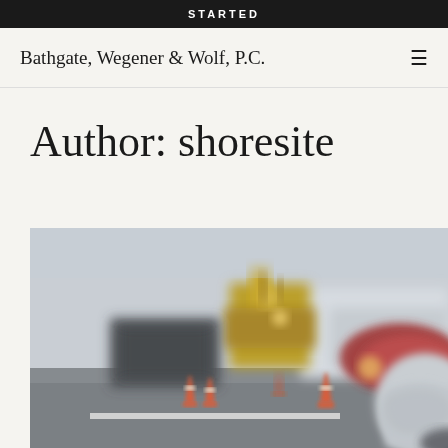STARTED
Bathgate, Wegener & Wolf, P.C.
Author: shoresite
[Figure (photo): Blurred photo of a road construction/accident scene showing orange traffic cones, heavy equipment machinery in the background, a red vehicle, and a person or covered object in the foreground right side, with a white road marking visible.]